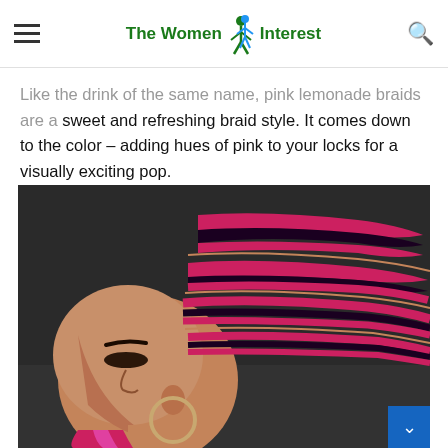The Women Interest
Like the drink of the same name, pink lemonade braids are a sweet and refreshing braid style. It comes down to the color – adding hues of pink to your locks for a visually exciting pop.
[Figure (photo): Close-up side profile of a woman with pink and black cornrow braids styled upward, with a large hoop earring visible and pink braided hair extensions hanging down.]